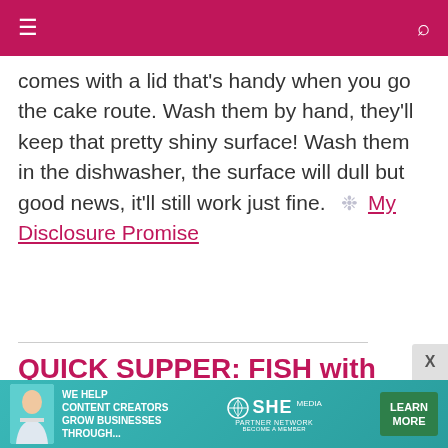comes with a lid that's handy when you go the cake route. Wash them by hand, they'll keep that pretty shiny surface! Wash them in the dishwasher, the surface will dull but good news, it'll still work just fine.  ❊  My Disclosure Promise
QUICK SUPPER: FISH with HERB BUTTER
Hands-on time: 15 minutes
Time to table: 15 minutes
[Figure (infographic): Advertisement banner for SHE Partner Network: 'We help content creators grow businesses through...' with Learn More button]